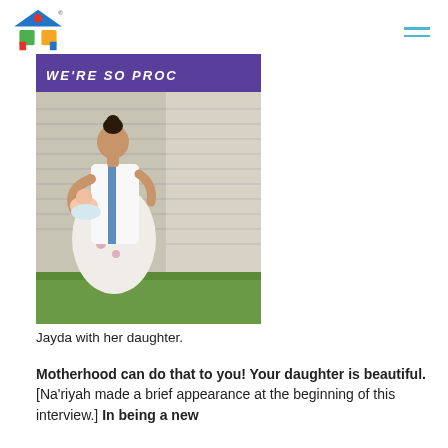[Figure (photo): A woman in a white graduation gown and floral dress holds a newborn baby outdoors. A purple banner reading 'WE'RE SO PROC...' is visible in the background, along with a house with siding and green grass.]
Jayda with her daughter.
Motherhood can do that to you! Your daughter is beautiful. [Na'riyah made a brief appearance at the beginning of this interview.] In being a new